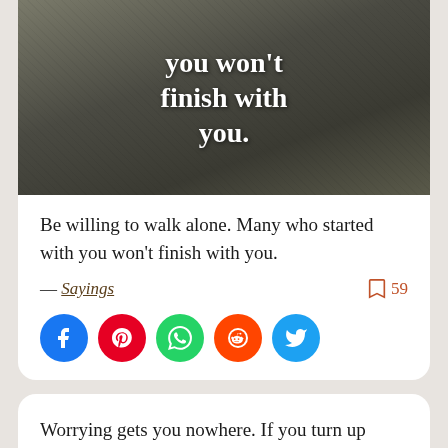[Figure (photo): Black and white photo of a person running outdoors with overlaid white bold text reading 'you won't finish with you.']
Be willing to walk alone. Many who started with you won't finish with you.
— Sayings  59
[Figure (infographic): Social media share buttons: Facebook (blue), Pinterest (red), WhatsApp (green), Reddit (orange), Twitter (blue)]
Worrying gets you nowhere. If you turn up worrying about how you're going to perform, you've already lost. Train hard, turn up, run